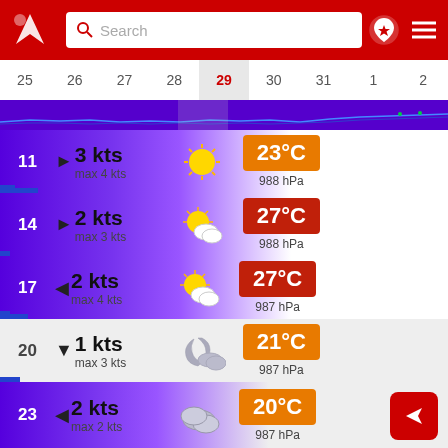[Figure (screenshot): Mobile app header with red background, logo, search bar, location pin icon, and hamburger menu]
25  26  27  28  29  30  31  1  2
[Figure (continuous-plot): Wave height chart strip with blue line across dates]
11  ▶ 3 kts  max 4 kts  ☀  23°C  988 hPa
14  ▶ 2 kts  max 3 kts  ⛅  27°C  988 hPa
17  ◀ 2 kts  max 4 kts  ⛅  27°C  987 hPa
20  ▼ 1 kts  max 3 kts  🌙⛅  21°C  987 hPa
23  ◀ 2 kts  max 2 kts  ☁  20°C  987 hPa